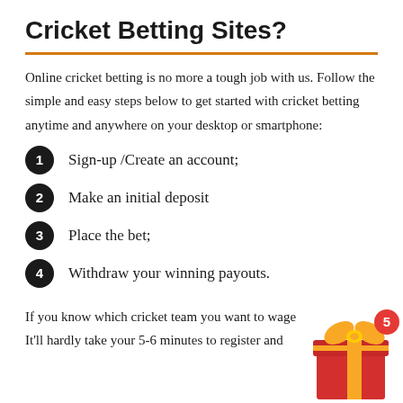Cricket Betting Sites?
Online cricket betting is no more a tough job with us. Follow the simple and easy steps below to get started with cricket betting anytime and anywhere on your desktop or smartphone:
Sign-up /Create an account;
Make an initial deposit
Place the bet;
Withdraw your winning payouts.
If you know which cricket team you want to wage. It'll hardly take your 5-6 minutes to register and
[Figure (illustration): Red gift box with yellow ribbon and bow, with a red badge showing the number 5 in the top right corner.]